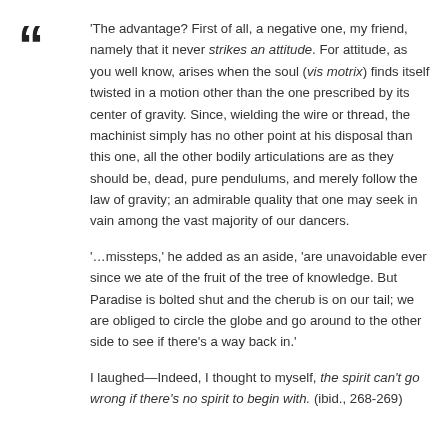[Figure (other): Large decorative opening double quotation mark in bold dark text]
'The advantage? First of all, a negative one, my friend, namely that it never strikes an attitude. For attitude, as you well know, arises when the soul (vis motrix) finds itself twisted in a motion other than the one prescribed by its center of gravity. Since, wielding the wire or thread, the machinist simply has no other point at his disposal than this one, all the other bodily articulations are as they should be, dead, pure pendulums, and merely follow the law of gravity; an admirable quality that one may seek in vain among the vast majority of our dancers.
'…missteps,' he added as an aside, 'are unavoidable ever since we ate of the fruit of the tree of knowledge. But Paradise is bolted shut and the cherub is on our tail; we are obliged to circle the globe and go around to the other side to see if there's a way back in.'
I laughed—Indeed, I thought to myself, the spirit can't go wrong if there's no spirit to begin with. (ibid., 268-269)